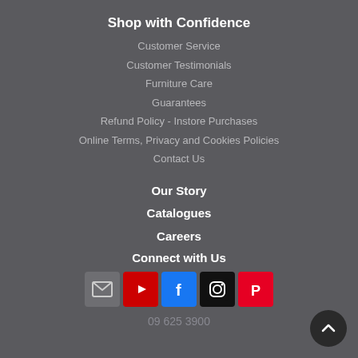Shop with Confidence
Customer Service
Customer Testimonials
Furniture Care
Guarantees
Refund Policy - Instore Purchases
Online Terms, Privacy and Cookies Policies
Contact Us
Our Story
Catalogues
Careers
Connect with Us
[Figure (infographic): Social media icons row: email, YouTube, Facebook, Instagram, Pinterest]
09 625 3900